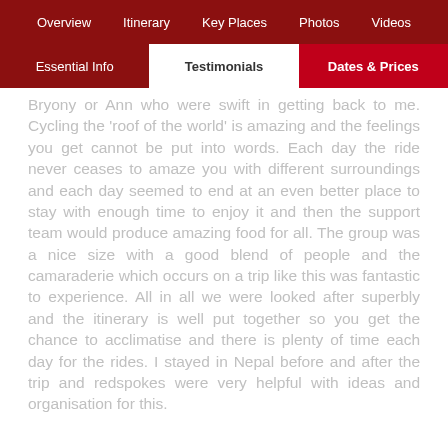Overview | Itinerary | Key Places | Photos | Videos | Essential Info | Testimonials | Dates & Prices
Bryony or Ann who were swift in getting back to me. Cycling the 'roof of the world' is amazing and the feelings you get cannot be put into words. Each day the ride never ceases to amaze you with different surroundings and each day seemed to end at an even better place to stay with enough time to enjoy it and then the support team would produce amazing food for all. The group was a nice size with a good blend of people and the camaraderie which occurs on a trip like this was fantastic to experience. All in all we were looked after superbly and the itinerary is well put together so you get the chance to acclimatise and there is plenty of time each day for the rides. I stayed in Nepal before and after the trip and redspokes were very helpful with ideas and organisation for this.